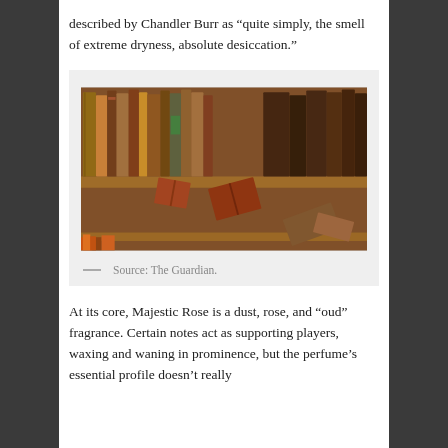described by Chandler Burr as “quite simply, the smell of extreme dryness, absolute desiccation.”
[Figure (photo): Photograph of old dusty books on wooden library shelves, warm amber tones, some books fallen over]
—  Source: The Guardian.
At its core, Majestic Rose is a dust, rose, and “oud” fragrance. Certain notes act as supporting players, waxing and waning in prominence, but the perfume’s essential profile doesn’t really